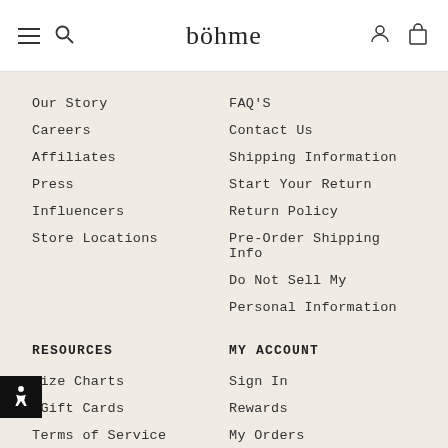böhme
Our Story
FAQ'S
Careers
Contact Us
Affiliates
Shipping Information
Press
Start Your Return
Influencers
Return Policy
Store Locations
Pre-Order Shipping Info
Do Not Sell My
Personal Information
RESOURCES
MY ACCOUNT
Size Charts
Sign In
eGift Cards
Rewards
Terms of Service
My Orders
Privacy Policy
Subscribe to our email list for 15% off your first order!